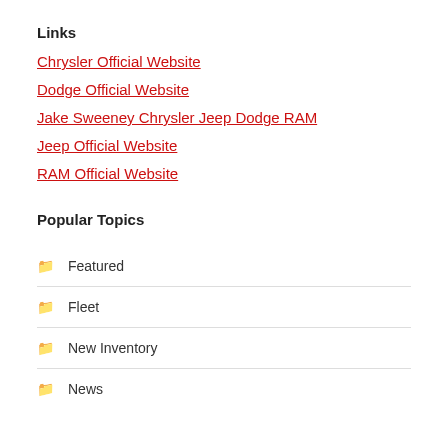Links
Chrysler Official Website
Dodge Official Website
Jake Sweeney Chrysler Jeep Dodge RAM
Jeep Official Website
RAM Official Website
Popular Topics
Featured
Fleet
New Inventory
News